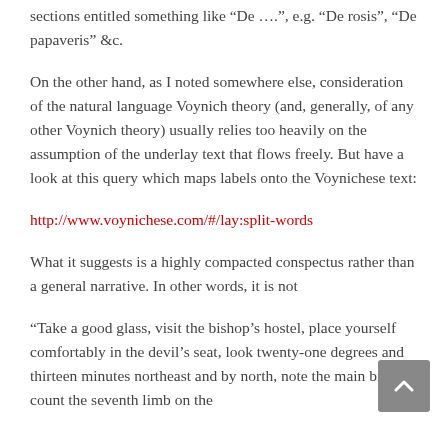sections entitled something like “De ….”, e.g. “De rosis”, “De papaveris” &c.
On the other hand, as I noted somewhere else, consideration of the natural language Voynich theory (and, generally, of any other Voynich theory) usually relies too heavily on the assumption of the underlay text that flows freely. But have a look at this query which maps labels onto the Voynichese text:
http://www.voynichese.com/#/lay:split-words
What it suggests is a highly compacted conspectus rather than a general narrative. In other words, it is not
“Take a good glass, visit the bishop’s hostel, place yourself comfortably in the devil’s seat, look twenty-one degrees and thirteen minutes northeast and by north, note the main branch, count the seventh limb on the